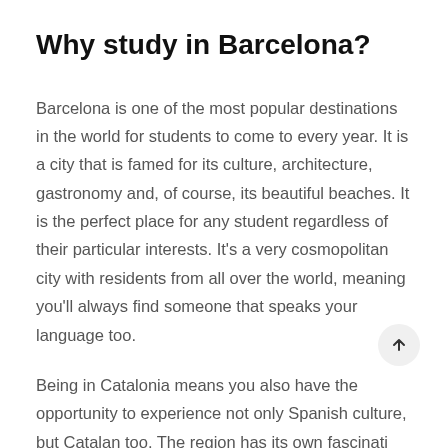Why study in Barcelona?
Barcelona is one of the most popular destinations in the world for students to come to every year. It is a city that is famed for its culture, architecture, gastronomy and, of course, its beautiful beaches. It is the perfect place for any student regardless of their particular interests. It's a very cosmopolitan city with residents from all over the world, meaning you'll always find someone that speaks your language too.
Being in Catalonia means you also have the opportunity to experience not only Spanish culture, but Catalan too. The region has its own fascinating...